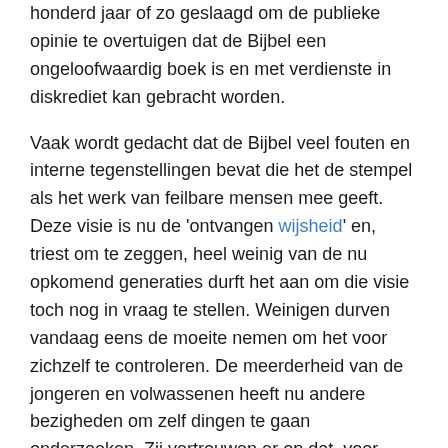honderd jaar of zo geslaagd om de publieke opinie te overtuigen dat de Bijbel een ongeloofwaardig boek is en met verdienste in diskrediet kan gebracht worden.
Vaak wordt gedacht dat de Bijbel veel fouten en interne tegenstellingen bevat die het de stempel als het werk van feilbare mensen mee geeft. Deze visie is nu de 'ontvangen wijsheid' en, triest om te zeggen, heel weinig van de nu opkomend generaties durft het aan om die visie toch nog in vraag te stellen. Weinigen durven vandaag eens de moeite nemen om het voor zichzelf te controleren. De meerderheid van de jongeren en volwassenen heeft nu andere bezigheden om zelf dingen te gaan onderzoeken. Zij vertrouwen er op dat  voor zeker de deskundigen en de mening van de meerderheid niet verkeerd kan zijn?
Een zogezegd Heilig Schrift